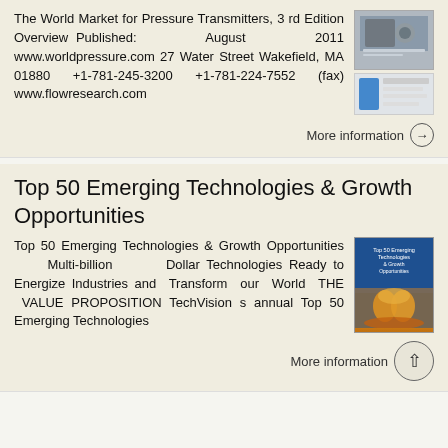The World Market for Pressure Transmitters, 3rd Edition Overview Published: August 2011 www.worldpressure.com 27 Water Street Wakefield, MA 01880 +1-781-245-3200 +1-781-224-7552 (fax) www.flowresearch.com
[Figure (photo): Book cover image for The World Market for Pressure Transmitters, 3rd Edition, showing industrial equipment, plus a small logo/icon below]
More information →
Top 50 Emerging Technologies & Growth Opportunities
Top 50 Emerging Technologies & Growth Opportunities Multi-billion Dollar Technologies Ready to Energize Industries and Transform our World THE VALUE PROPOSITION TechVision s annual Top 50 Emerging Technologies
[Figure (photo): Book cover image for Top 50 Emerging Technologies & Growth Opportunities, showing hands raised with glowing light]
More information →